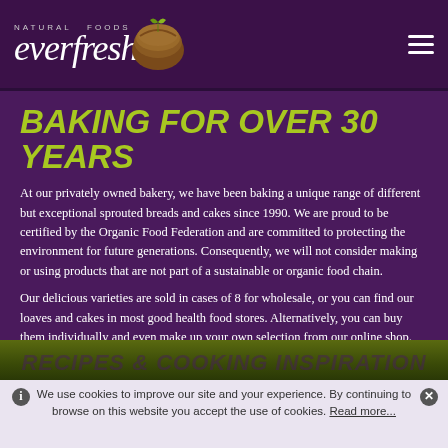Everfresh Natural Foods
BAKING FOR OVER 30 YEARS
At our privately owned bakery, we have been baking a unique range of different but exceptional sprouted breads and cakes since 1990. We are proud to be certified by the Organic Food Federation and are committed to protecting the environment for future generations. Consequently, we will not consider making or using products that are not part of a sustainable or organic food chain.
Our delicious varieties are sold in cases of 8 for wholesale, or you can find our loaves and cakes in most good health food stores. Alternatively, you can buy them individually and even make up your own selection from our online shop.
[Figure (other): Partially visible banner section at the bottom with text 'RECIPES & COOKING INSPIRATION' on an olive/dark green background]
We use cookies to improve our site and your experience. By continuing to browse on this website you accept the use of cookies. Read more...